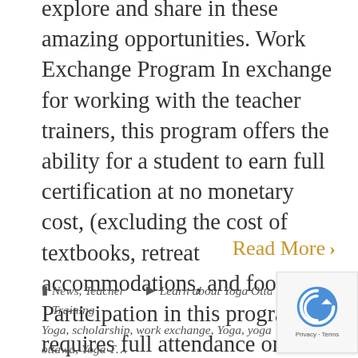explore and share in these amazing opportunities. Work Exchange Program In exchange for working with the teacher trainers, this program offers the ability for a student to earn full certification at no monetary cost, (excluding the cost of textbooks, retreat accommodations, and food). Participation in this program requires full attendance on all weekends and the commitment of approximately 40 hours of seva or service hours. The work exchange program is available to students with an annual income of less than...
Read More ›
News, Teacher Training   Learn about Yoga Ottawa, O… Yoga, scholarship, work exchange, Yoga, yoga ottawa, Yoga T… Training